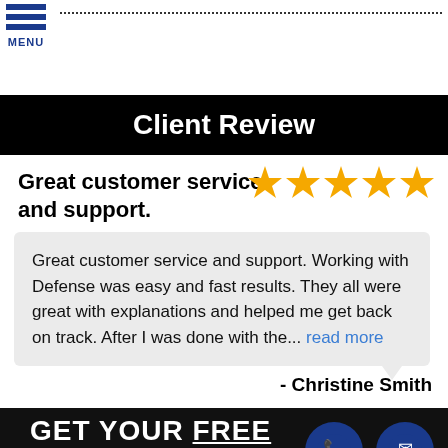MENU
Client Review
Great customer service and support.
[Figure (other): Five gold star rating icons]
Great customer service and support. Working with Defense was easy and fast results. They all were great with explanations and helped me get back on track. After I was done with the... read more
- Christine Smith
GET YOUR FREE CONSULTATION